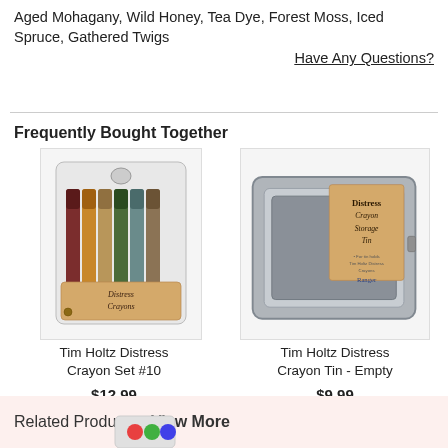Aged Mohagany, Wild Honey, Tea Dye, Forest Moss, Iced Spruce, Gathered Twigs
Have Any Questions?
Frequently Bought Together
[Figure (photo): Tim Holtz Distress Crayon Set #10 product image showing 6 crayons in a clear plastic package with kraft paper label]
Tim Holtz Distress Crayon Set #10
$12.99
Add to Basket
[Figure (photo): Tim Holtz Distress Crayon Storage Tin - Empty product image showing a grey metal tin with kraft paper label]
Tim Holtz Distress Crayon Tin - Empty
$9.99
Add to Basket
Related Products - View More
[Figure (photo): Partial image of a related product at the bottom of the page]